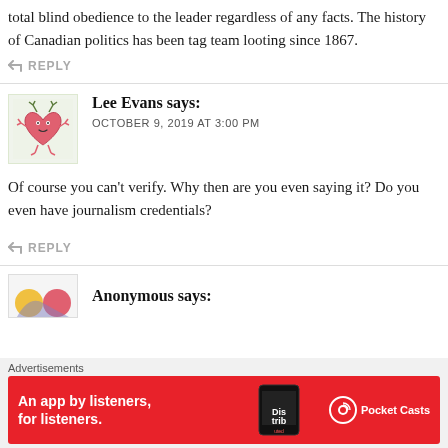total blind obedience to the leader regardless of any facts. The history of Canadian politics has been tag team looting since 1867.
↩ REPLY
[Figure (illustration): Cartoon avatar: a pink heart character with antlers/twigs, small limbs, and a face]
Lee Evans says:
OCTOBER 9, 2019 AT 3:00 PM
Of course you can't verify. Why then are you even saying it? Do you even have journalism credentials?
↩ REPLY
[Figure (illustration): Partial cartoon avatar for Anonymous commenter]
Anonymous says:
Advertisements
[Figure (other): Pocket Casts advertisement banner: red background, 'An app by listeners, for listeners.' text, phone image, Pocket Casts logo]